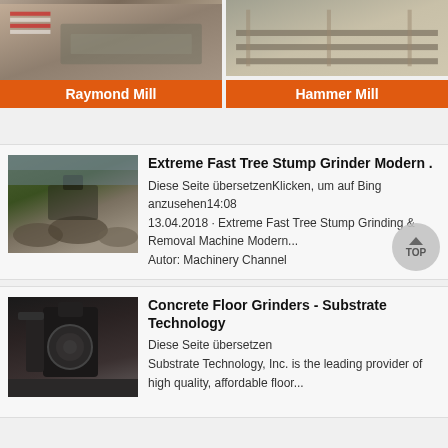[Figure (photo): Raymond Mill product card with orange label at bottom]
[Figure (photo): Hammer Mill product card with orange label at bottom]
[Figure (photo): Quarry/mining site machinery photo thumbnail for Extreme Fast Tree Stump Grinder result]
Extreme Fast Tree Stump Grinder Modern .
Diese Seite übersetzenKlicken, um auf Bing anzusehen14:08
13.04.2018 · Extreme Fast Tree Stump Grinding & Removal Machine Modern...
Autor: Machinery Channel
[Figure (photo): Industrial grinder/mill machinery photo thumbnail for Concrete Floor Grinders result]
Concrete Floor Grinders - Substrate Technology
Diese Seite übersetzen
Substrate Technology, Inc. is the leading provider of high quality, affordable floor...